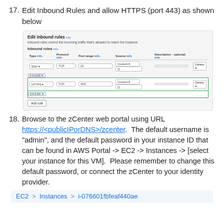17. Edit Inbound Rules and allow HTTPS (port 443) as shown below
[Figure (screenshot): AWS EC2 Edit inbound rules dialog showing two rules: SSH (port 22) and HTTPS (port 443), with the HTTPS row highlighted in green border. Columns: Type, Protocol info, Port range info, Source info, Description optional info. An 'Add rule' button appears at the bottom.]
18. Browse to the zCenter web portal using URL https://<publicIPorDNS>/zcenter.  The default username is "admin", and the default password in your instance ID that can be found in AWS Portal -> EC2 -> Instances -> [select your instance for this VM].  Please remember to change this default password, or connect the zCenter to your identity provider.
[Figure (screenshot): AWS breadcrumb navigation bar showing: EC2 > Instances > i-076601fbfeaf440ae]